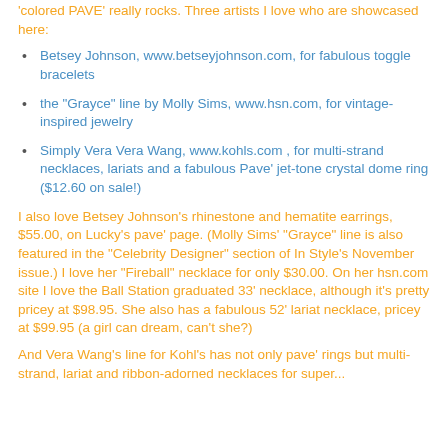'colored PAVE' really rocks.  Three artists I love who are showcased here:
Betsey Johnson, www.betseyjohnson.com, for fabulous toggle bracelets
the "Grayce" line by Molly Sims, www.hsn.com, for vintage-inspired jewelry
Simply Vera Vera Wang, www.kohls.com , for multi-strand necklaces, lariats and a fabulous Pave' jet-tone crystal dome ring ($12.60 on sale!)
I also love Betsey Johnson's rhinestone and hematite earrings, $55.00, on Lucky's pave' page.  (Molly Sims' "Grayce" line is also featured in the "Celebrity Designer" section of In Style's November issue.)  I love her "Fireball" necklace for only $30.00.  On her hsn.com site I love the Ball Station graduated 33' necklace, although it's pretty pricey at $98.95.  She also has a fabulous 52' lariat necklace, pricey at $99.95 (a girl can dream, can't she?)
And Vera Wang's line for Kohl's has not only pave' rings but multi-strand, lariat and ribbon-adorned necklaces for super...